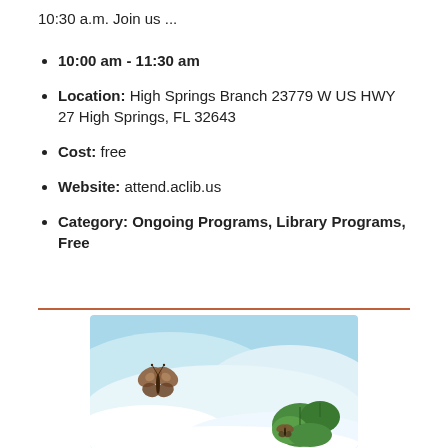10:30 a.m. Join us ...
10:00 am - 11:30 am
Location: High Springs Branch 23779 W US HWY 27 High Springs, FL 32643
Cost: free
Website: attend.aclib.us
Category: Ongoing Programs, Library Programs, Free
[Figure (illustration): Illustration of a nature scene with blue sky, white hills/snow drifts, a brown butterfly on the left, and green foliage on the right bottom.]